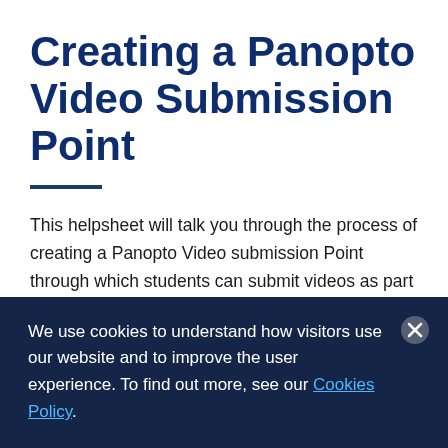Creating a Panopto Video Submission Point
This helpsheet will talk you through the process of creating a Panopto Video submission Point through which students can submit videos as part of an assessment. The video submission element is a
We use cookies to understand how visitors use our website and to improve the user experience. To find out more, see our Cookies Policy.